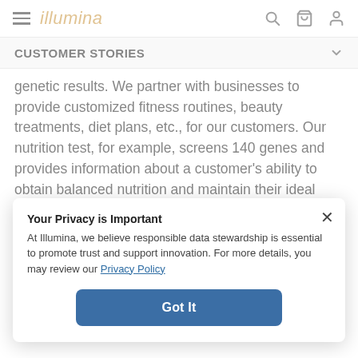illumina
CUSTOMER STORIES
genetic results. We partner with businesses to provide customized fitness routines, beauty treatments, diet plans, etc., for our customers. Our nutrition test, for example, screens 140 genes and provides information about a customer's ability to obtain balanced nutrition and maintain their ideal weight. It also provides diet,
Your Privacy is Important
At Illumina, we believe responsible data stewardship is essential to promote trust and support innovation. For more details, you may review our Privacy Policy
Got It